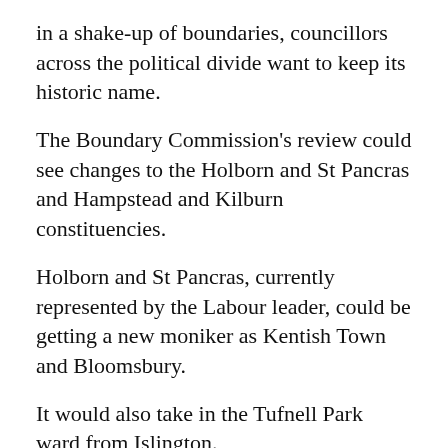in a shake-up of boundaries, councillors across the political divide want to keep its historic name.
The Boundary Commission's review could see changes to the Holborn and St Pancras and Hampstead and Kilburn constituencies.
Holborn and St Pancras, currently represented by the Labour leader, could be getting a new moniker as Kentish Town and Bloomsbury.
It would also take in the Tufnell Park ward from Islington.
The move was not popular with Camden councillors and they said many residents felt the same.
Members of the audit and corporate